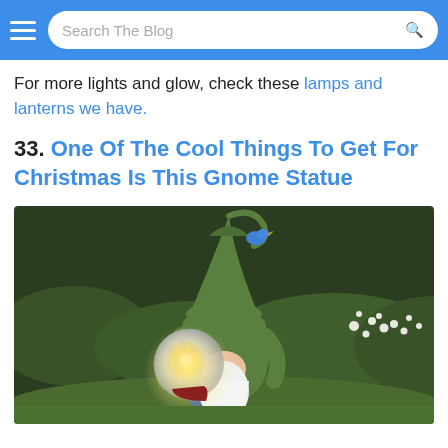Search The Blog
For more lights and glow, check these lamps and lanterns we have.
33. One Of The Cool Things To Get For Christmas Is This Gnome Statue
[Figure (photo): A garden gnome statue wearing a green outfit and pointed hat, holding a glowing crackle-glass orb, with a small blue bird on its hat, set against a lush green garden background with white flowers.]